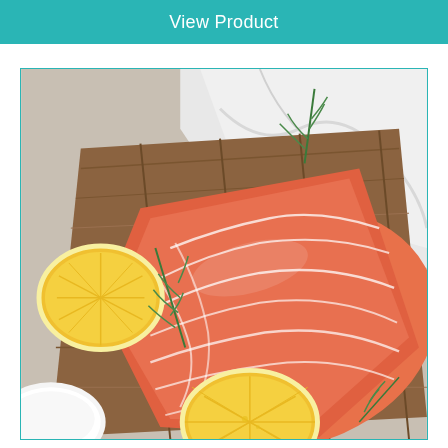View Product
[Figure (photo): A raw salmon fillet placed on a wooden cutting board, garnished with fresh dill sprigs and lemon halves, with a white cloth napkin in the background. The salmon shows characteristic white fat marbling lines across its bright orange-pink flesh.]